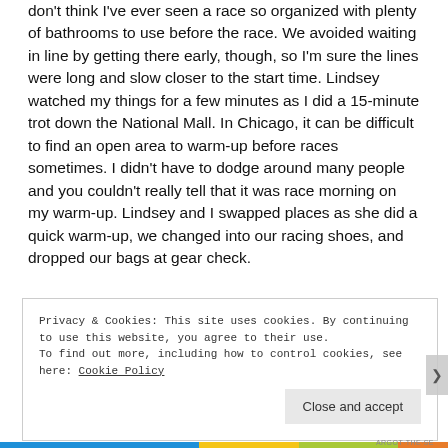don't think I've ever seen a race so organized with plenty of bathrooms to use before the race. We avoided waiting in line by getting there early, though, so I'm sure the lines were long and slow closer to the start time. Lindsey watched my things for a few minutes as I did a 15-minute trot down the National Mall. In Chicago, it can be difficult to find an open area to warm-up before races sometimes. I didn't have to dodge around many people and you couldn't really tell that it was race morning on my warm-up. Lindsey and I swapped places as she did a quick warm-up, we changed into our racing shoes, and dropped our bags at gear check.
Privacy & Cookies: This site uses cookies. By continuing to use this website, you agree to their use.
To find out more, including how to control cookies, see here: Cookie Policy
Close and accept